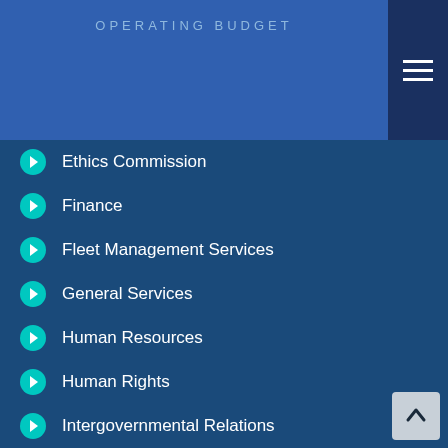OPERATING BUDGET
Ethics Commission
Finance
Fleet Management Services
General Services
Human Resources
Human Rights
Intergovernmental Relations
Management and Budget
Procurement
Public Information
Technology Services
Urban Districts